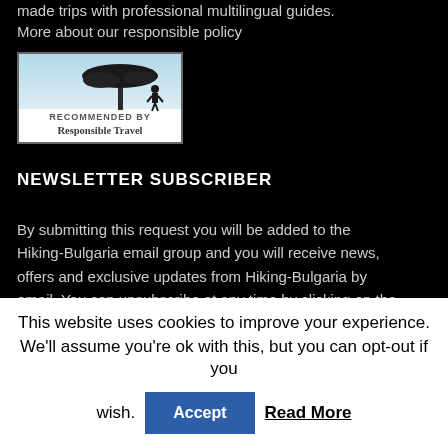made trips with professional multilingual guides. More about our responsible policy
[Figure (logo): Recommended by Responsible Travel badge — white box with tree silhouette image and text 'RECOMMENDED BY Responsible Travel']
NEWSLETTER SUBSCRIBER
By submitting this request you will be added to the Hiking-Bulgaria email group and you will receive news, offers and exclusive updates from Hiking-Bulgaria by email. You can unsubscribe at any time by clicking on the unsubscribe link at the bottom of any email.
This website uses cookies to improve your experience. We'll assume you're ok with this, but you can opt-out if you wish. Accept Read More